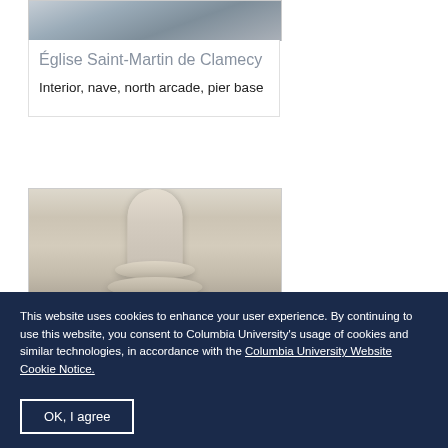[Figure (photo): Partial view of a stone church interior, cropped at top of page]
Église Saint-Martin de Clamecy
Interior, nave, north arcade, pier base
[Figure (photo): Photograph of a stone pier base in the nave of Église Saint-Martin de Clamecy, showing rounded molded base of a column]
This website uses cookies to enhance your user experience. By continuing to use this website, you consent to Columbia University's usage of cookies and similar technologies, in accordance with the Columbia University Website Cookie Notice.
OK, I agree